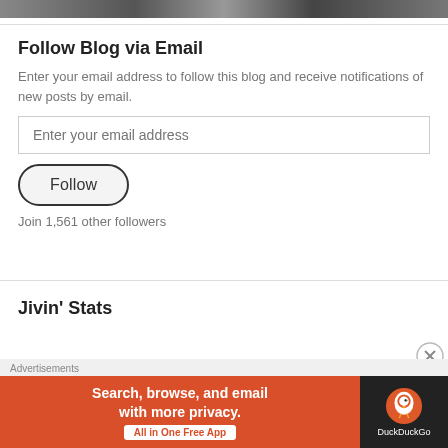[Figure (photo): Partial photo strip at top of page showing grayscale images of people]
Follow Blog via Email
Enter your email address to follow this blog and receive notifications of new posts by email.
Enter your email address
Follow
Join 1,561 other followers
Jivin' Stats
[Figure (infographic): Advertisement banner: DuckDuckGo - Search, browse, and email with more privacy. All in One Free App]